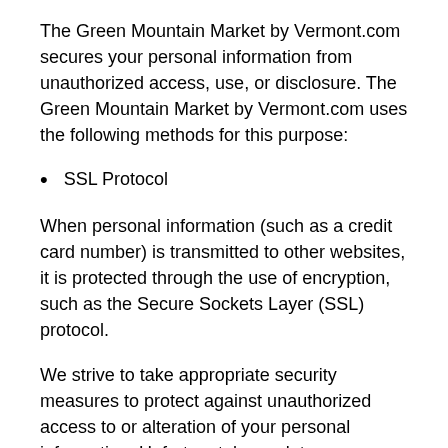The Green Mountain Market by Vermont.com secures your personal information from unauthorized access, use, or disclosure. The Green Mountain Market by Vermont.com uses the following methods for this purpose:
SSL Protocol
When personal information (such as a credit card number) is transmitted to other websites, it is protected through the use of encryption, such as the Secure Sockets Layer (SSL) protocol.
We strive to take appropriate security measures to protect against unauthorized access to or alteration of your personal information. Unfortunately, no data transmission over the Internet or any wireless network can be guaranteed to be 100% secure. As a result, while we strive to protect your personal information, you acknowledge that: (a) there are security and privacy